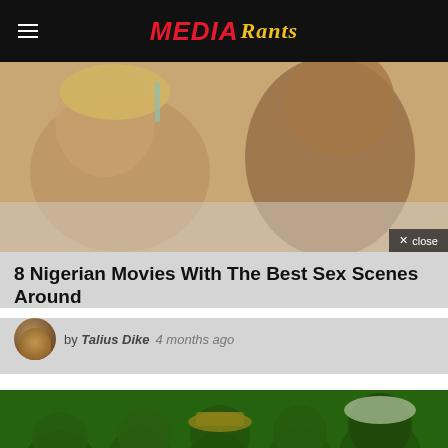Media Rants
[Figure (photo): Close-up photo of two people, a woman with blonde hair holding a makeup brush and a man leaning in, with a 'close' button overlay in the bottom right corner]
8 Nigerian Movies With The Best Sex Scenes Around
by Talius Dike   4 months ago
[Figure (photo): Group photo of several young Nigerian men smiling together with a green color overlay tint]